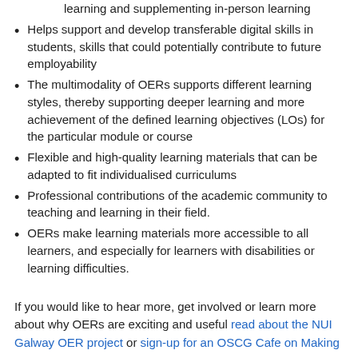learning and supplementing in-person learning
Helps support and develop transferable digital skills in students, skills that could potentially contribute to future employability
The multimodality of OERs supports different learning styles, thereby supporting deeper learning and more achievement of the defined learning objectives (LOs) for the particular module or course
Flexible and high-quality learning materials that can be adapted to fit individualised curriculums
Professional contributions of the academic community to teaching and learning in their field.
OERs make learning materials more accessible to all learners, and especially for learners with disabilities or learning difficulties.
If you would like to hear more, get involved or learn more about why OERs are exciting and useful read about the NUI Galway OER project or sign-up for an OSCG Cafe on Making